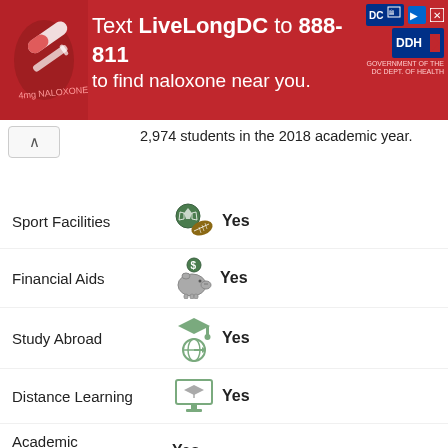[Figure (infographic): Red banner advertisement: Text LiveLongDC to 888-811 to find naloxone near you. DC government health department logos visible on right.]
2,974 students in the 2018 academic year.
Sport Facilities: Yes
Financial Aids: Yes
Study Abroad: Yes
Distance Learning: Yes
Academic Counseling: Yes
Career Services: Yes
Institutional Hospital: Not reported